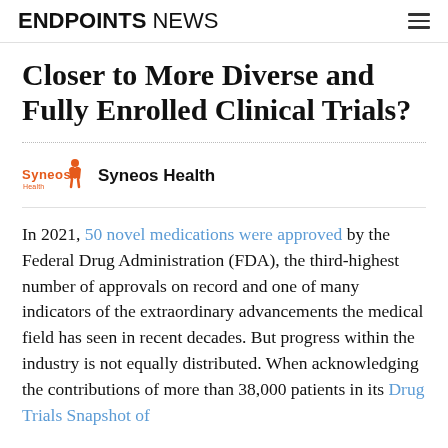ENDPOINTS NEWS
Closer to More Diverse and Fully Enrolled Clinical Trials?
[Figure (logo): Syneos Health logo with orange wordmark and abstract orange figure icon]
Syneos Health
In 2021, 50 novel medications were approved by the Federal Drug Administration (FDA), the third-highest number of approvals on record and one of many indicators of the extraordinary advancements the medical field has seen in recent decades. But progress within the industry is not equally distributed. When acknowledging the contributions of more than 38,000 patients in its Drug Trials Snapshot of